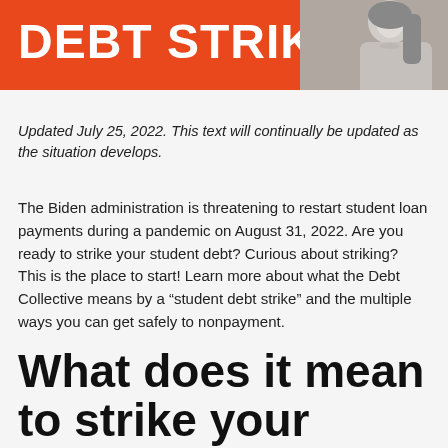[Figure (photo): Orange banner with 'DEBT STRIKE!' text in white bold letters and a black-and-white photo of a woman on the right side]
Updated July 25, 2022. This text will continually be updated as the situation develops.
The Biden administration is threatening to restart student loan payments during a pandemic on August 31, 2022. Are you ready to strike your student debt? Curious about striking? This is the place to start! Learn more about what the Debt Collective means by a “student debt strike” and the multiple ways you can get safely to nonpayment.
What does it mean to strike your